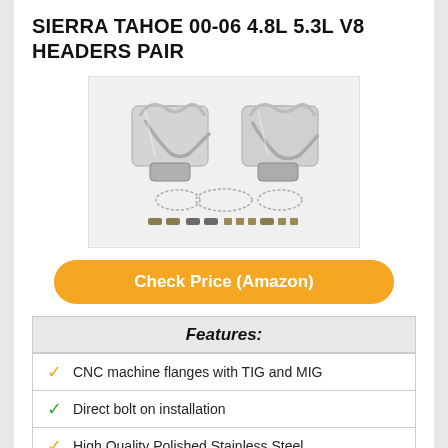SIERRA TAHOE 00-06 4.8L 5.3L V8 HEADERS PAIR
[Figure (photo): Product photo of a pair of polished stainless steel exhaust headers for Sierra/Tahoe V8, shown with gaskets and hardware included in the kit.]
Check Price (Amazon)
| Features: |
| --- |
| CNC machine flanges with TIG and MIG |
| Direct bolt on installation |
| High Quality Polished Stainless Steel |
| Mandrel Bent Piping |